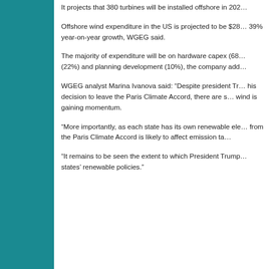It projects that 380 turbines will be installed offshore in 202…
Offshore wind expenditure in the US is projected to be $28… 39% year-on-year growth, WGEG said.
The majority of expenditure will be on hardware capex (68… (22%) and planning development (10%), the company add…
WGEG analyst Marina Ivanova said: “Despite president Tr… his decision to leave the Paris Climate Accord, there are s… wind is gaining momentum.
“More importantly, as each state has its own renewable ele… from the Paris Climate Accord is likely to affect emission ta…
“It remains to be seen the extent to which President Trump… states’ renewable policies.”